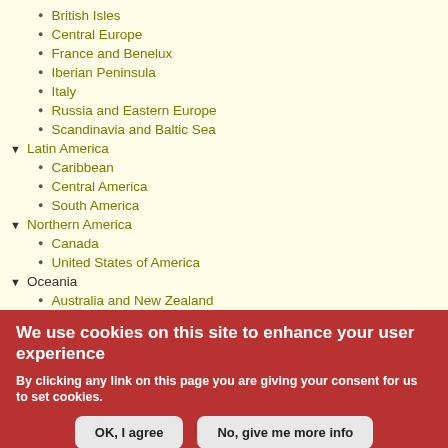British Isles
Central Europe
France and Benelux
Iberian Peninsula
Italy
Russia and Eastern Europe
Scandinavia and Baltic Sea
Latin America
Caribbean
Central America
South America
Northern America
Canada
United States of America
Oceania
Australia and New Zealand
Melanesia
We use cookies on this site to enhance your user experience
By clicking any link on this page you are giving your consent for us to set cookies.
OK, I agree
No, give me more info